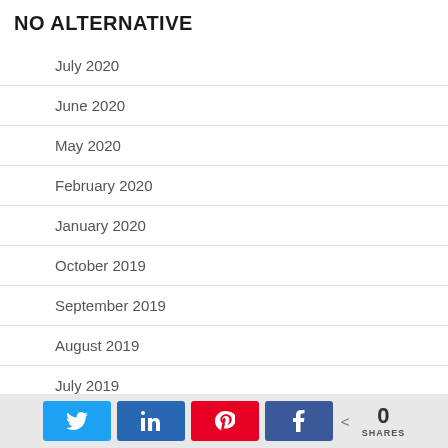NO ALTERNATIVE
July 2020
June 2020
May 2020
February 2020
January 2020
October 2019
September 2019
August 2019
July 2019
0 SHARES